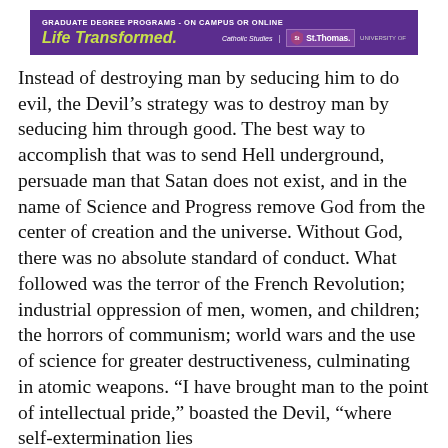[Figure (other): Advertisement banner for University of St. Thomas Graduate Degree Programs - On Campus or Online. Purple background with green italic text 'Life Transformed.' and Catholic Studies / St. Thomas logo on the right.]
Instead of destroying man by seducing him to do evil, the Devil's strategy was to destroy man by seducing him through good. The best way to accomplish that was to send Hell underground, persuade man that Satan does not exist, and in the name of Science and Progress remove God from the center of creation and the universe. Without God, there was no absolute standard of conduct. What followed was the terror of the French Revolution; industrial oppression of men, women, and children; the horrors of communism; world wars and the use of science for greater destructiveness, culminating in atomic weapons. “I have brought man to the point of intellectual pride,” boasted the Devil, “where self-extermination lies